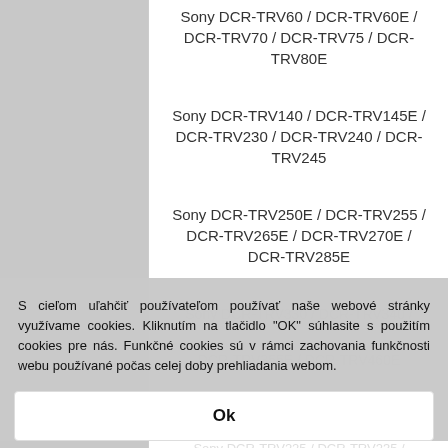Sony DCR-TRV60 / DCR-TRV60E / DCR-TRV70 / DCR-TRV75 / DCR-TRV80E
Sony DCR-TRV140 / DCR-TRV145E / DCR-TRV230 / DCR-TRV240 / DCR-TRV245
Sony DCR-TRV250E / DCR-TRV255 / DCR-TRV265E / DCR-TRV270E / DCR-TRV285E
Sony DCR-TRV330 / DCR-TRV340 / ...
S cieľom uľahčiť používateľom používať naše webové stránky využívame cookies. Kliknutím na tlačidlo "OK" súhlasite s použitím cookies pre nás. Funkčné cookies sú v rámci zachovania funkčnosti webu používané počas celej doby prehliadania webom.
Ok